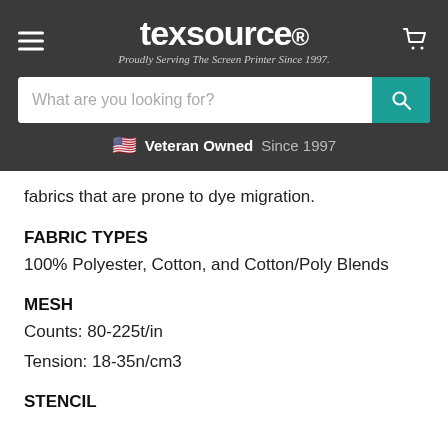texsource. Proudly Serving The Screen Printer Since 1997.
fabrics that are prone to dye migration.
FABRIC TYPES
100% Polyester, Cotton, and Cotton/Poly Blends
MESH
Counts: 80-225t/in
Tension: 18-35n/cm3
STENCIL